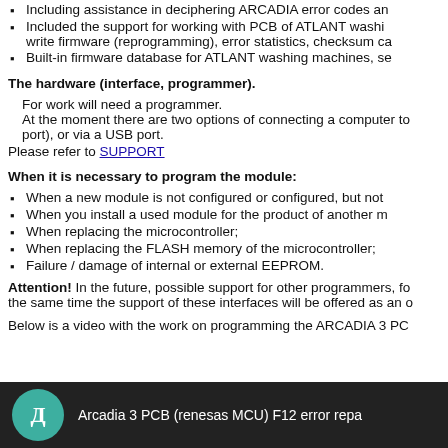Including assistance in deciphering ARCADIA error codes an...
Included the support for working with PCB of ATLANT washi... write firmware (reprogramming), error statistics, checksum ca...
Built-in firmware database for ATLANT washing machines, se...
The hardware (interface, programmer).
For work will need a programmer.
At the moment there are two options of connecting a computer to... port), or via a USB port.
Please refer to SUPPORT
When it is necessary to program the module:
When a new module is not configured or configured, but not...
When you install a used module for the product of another m...
When replacing the microcontroller;
When replacing the FLASH memory of the microcontroller;
Failure / damage of internal or external EEPROM.
Attention! In the future, possible support for other programmers, fo... the same time the support of these interfaces will be offered as an o...
Below is a video with the work on programming the ARCADIA 3 PC...
[Figure (screenshot): Video thumbnail showing 'Arcadia 3 PCB (renesas MCU) F12 error repa...' with a teal circular icon containing the Cyrillic letter Д on a dark background.]